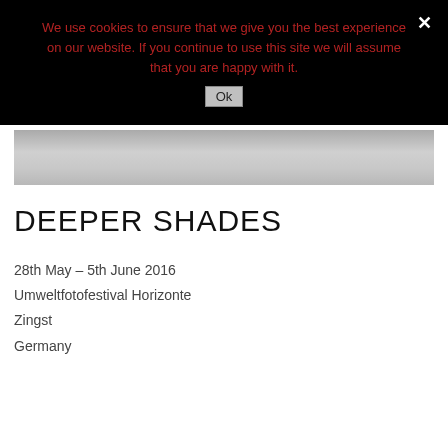We use cookies to ensure that we give you the best experience on our website. If you continue to use this site we will assume that you are happy with it.
[Figure (photo): Partial photo showing a gradient grey/silver surface, likely a cropped image header for the exhibition page.]
DEEPER SHADES
28th May – 5th June 2016
Umweltfotofestival Horizonte
Zingst
Germany